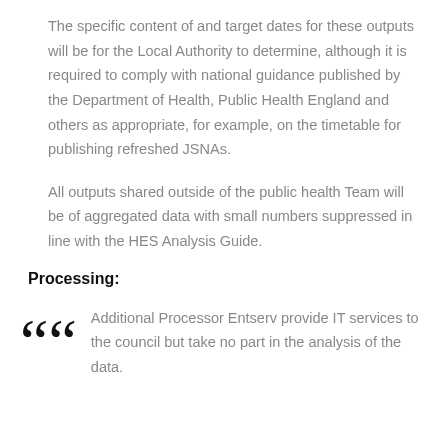The specific content of and target dates for these outputs will be for the Local Authority to determine, although it is required to comply with national guidance published by the Department of Health, Public Health England and others as appropriate, for example, on the timetable for publishing refreshed JSNAs.
All outputs shared outside of the public health Team will be of aggregated data with small numbers suppressed in line with the HES Analysis Guide.
Processing:
Additional Processor Entserv provide IT services to the council but take no part in the analysis of the data.